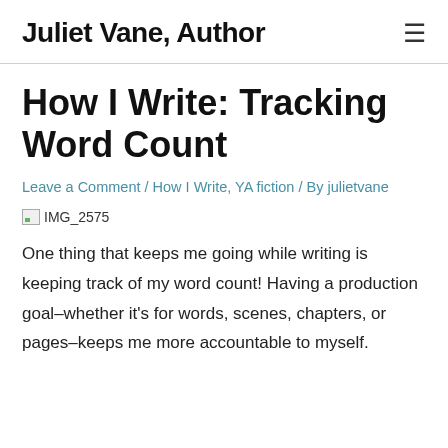Juliet Vane, Author
How I Write: Tracking Word Count
Leave a Comment / How I Write, YA fiction / By julietvane
[Figure (photo): Broken image placeholder labeled IMG_2575]
One thing that keeps me going while writing is keeping track of my word count! Having a production goal–whether it's for words, scenes, chapters, or pages–keeps me more accountable to myself.